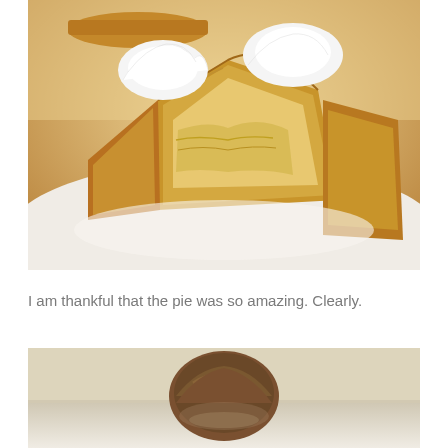[Figure (photo): Close-up photograph of apple pie slices with whipped cream on top, on a white plate, with another pie visible in the background.]
I am thankful that the pie was so amazing. Clearly.
[Figure (photo): Partial photo of a child's head barely visible above a table surface, with a reflection below.]